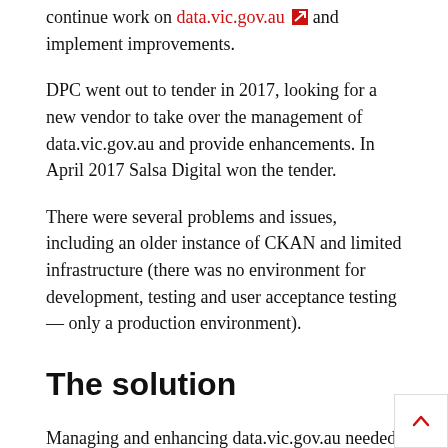continue work on data.vic.gov.au and implement improvements.
DPC went out to tender in 2017, looking for a new vendor to take over the management of data.vic.gov.au and provide enhancements. In April 2017 Salsa Digital won the tender.
There were several problems and issues, including an older instance of CKAN and limited infrastructure (there was no environment for development, testing and user acceptance testing — only a production environment).
The solution
Managing and enhancing data.vic.gov.au needed to be separated into two different sub-projects:
1. Maintain the status quo of the current